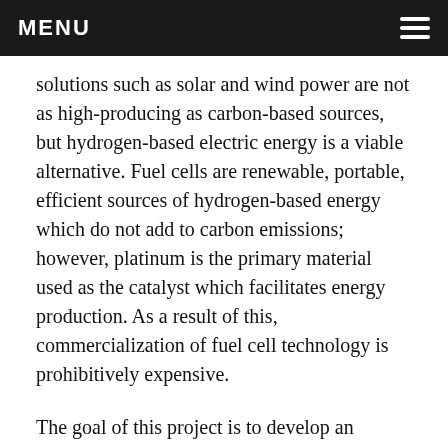MENU
solutions such as solar and wind power are not as high-producing as carbon-based sources, but hydrogen-based electric energy is a viable alternative. Fuel cells are renewable, portable, efficient sources of hydrogen-based energy which do not add to carbon emissions; however, platinum is the primary material used as the catalyst which facilitates energy production. As a result of this, commercialization of fuel cell technology is prohibitively expensive.
The goal of this project is to develop an economically viable cathode catalyst for proton exchange membrane fuel cells (PEMFCs). Three different metal catalysts (cobalt(III), iron(III), and copper(III)-based) with great potential are evaluated alongside three different